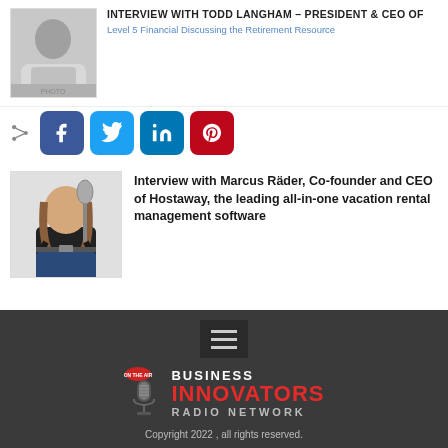[Figure (photo): Headshot of a man in suit (partially visible at top)]
INTERVIEW WITH TODD LANGHAM — PRESIDENT & CEO OF Level 5 Financial Discussing the Retirement Resource
[Figure (infographic): Social share buttons: Facebook, Twitter, LinkedIn, Pinterest]
[Figure (photo): Portrait of Marcus Räder, man with long hair and black t-shirt, standing with microphone]
Interview with Marcus Räder, Co-founder and CEO of Hostaway, the leading all-in-one vacation rental management software
[Figure (logo): Business Innovators Radio Network logo with microphone icon]
Copyright 2022 , all rights reserved.